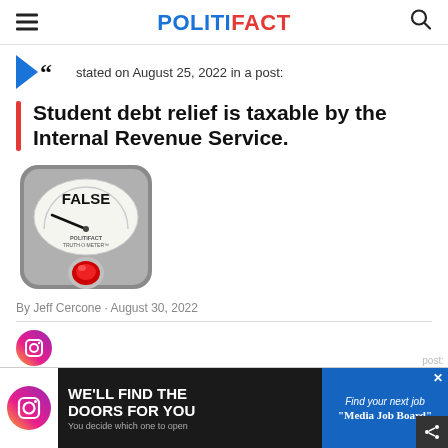POLITIFACT
stated on August 25, 2022 in a post:
Student debt relief is taxable by the Internal Revenue Service.
[Figure (illustration): PolitiFact Truth-O-Meter gauge showing FALSE rating with red indicator light at bottom]
By Jeff Cercone · August 30, 2022
[Figure (infographic): Advertisement: WE'LL FIND THE DOORS FOR YOU - You decide which one to open, alongside Instagram logo and Media Job Board ad]